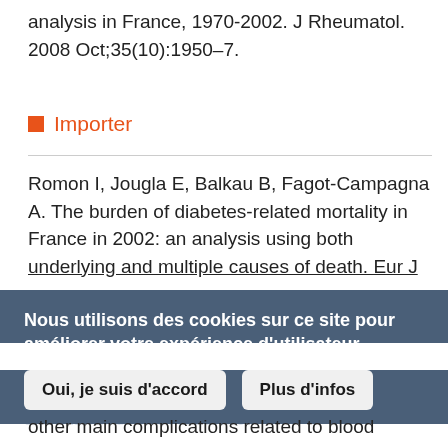analysis in France, 1970-2002. J Rheumatol. 2008 Oct;35(10):1950–7.
Importer
Romon I, Jougla E, Balkau B, Fagot-Campagna A. The burden of diabetes-related mortality in France in 2002: an analysis using both underlying and multiple causes of death. Eur J
Nous utilisons des cookies sur ce site pour améliorer votre expérience d'utilisateur. En cliquant sur un lien de cette page, vous nous donnez votre consentement de définir des cookies.
other main complications related to blood